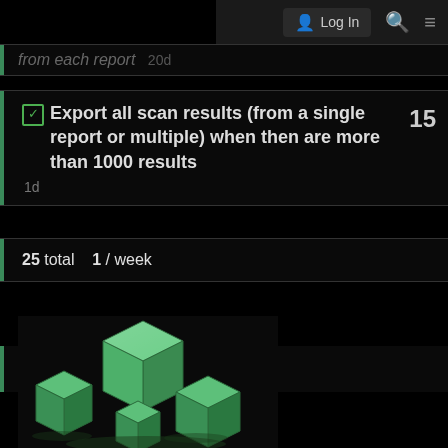Log In
from each report  20d
Export all scan results (from a single report or multiple) when then are more than 1000 results  1d
25 total  1 / week
Community Containers
[Figure (illustration): Green 3D cube containers arranged in a cluster, resembling a Docker/container logo illustration]